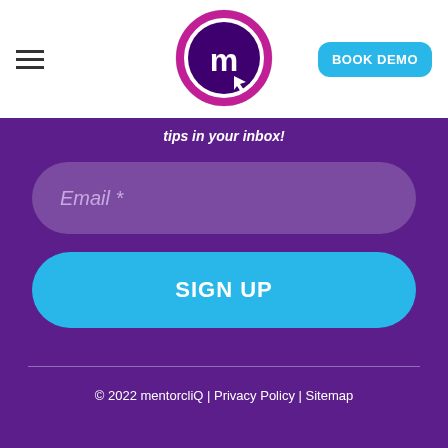tips in your inbox!
[Figure (logo): MentorcliQ circular logo with letter m in white on dark purple/pink background]
BOOK DEMO
Email *
SIGN UP
© 2022 mentorcliQ | Privacy Policy | Sitemap